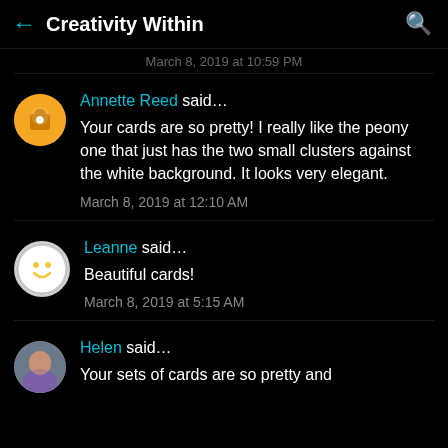Creativity Within
March 8, 2019 at 10:59 PM
Annette Reed said...
Your cards are so pretty! I really like the peony one that just has the two small clusters against the white background. It looks very elegant.
March 8, 2019 at 12:10 AM
Leanne said...
Beautiful cards!
March 8, 2019 at 5:15 AM
Helen said...
Your sets of cards are so pretty and